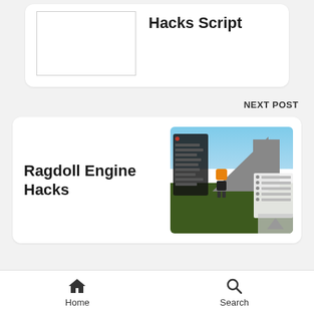Hacks Script
NEXT POST
Ragdoll Engine Hacks
[Figure (screenshot): Screenshot of a Roblox game scene showing a character with an orange head standing on green ground near a large grey ramp, with a dark menu panel on the left and a small white panel on the right.]
Home   Search